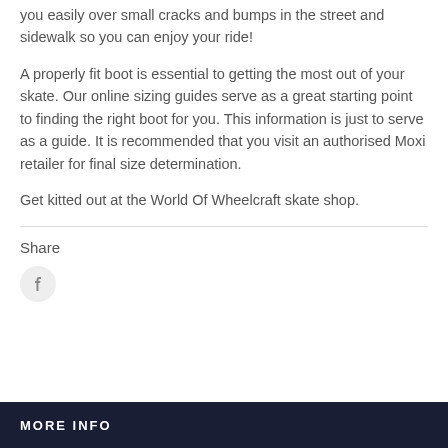you easily over small cracks and bumps in the street and sidewalk so you can enjoy your ride!
A properly fit boot is essential to getting the most out of your skate. Our online sizing guides serve as a great starting point to finding the right boot for you. This information is just to serve as a guide. It is recommended that you visit an authorised Moxi retailer for final size determination.
Get kitted out at the World Of Wheelcraft skate shop.
Share
[Figure (logo): Facebook icon in a circle]
MORE INFO